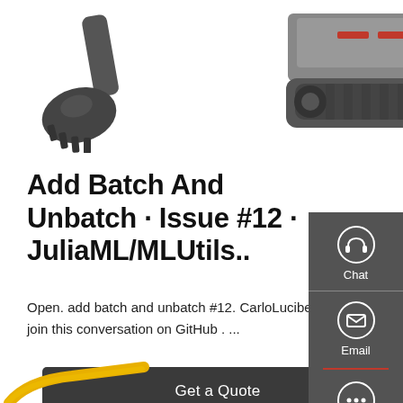[Figure (photo): Partial view of excavator bucket arm (left) and excavator undercarriage/tracks (right) on white background, top of page]
Add Batch And Unbatch · Issue #12 · JuliaML/MLUtils..
Open. add batch and unbatch #12. CarloLucibello opened this issue 3 days ago · 0 comments. Comments. Sign up for free to join this conversation on GitHub . ...
[Figure (screenshot): Dark gray sidebar on right side with Chat (headset icon), Email (envelope icon), and Contact (speech bubble icon) buttons]
[Figure (photo): Partial view of yellow excavator arm at bottom left of page]
Get a Quote